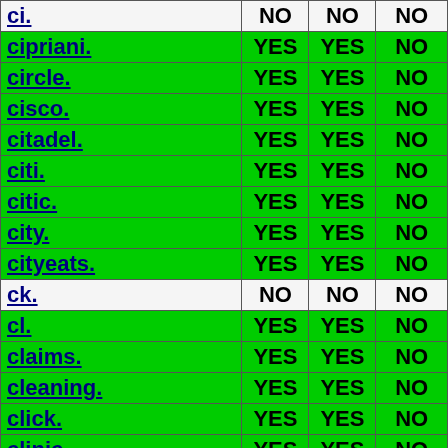| Domain | Col1 | Col2 | Col3 |
| --- | --- | --- | --- |
| ci. | NO | NO | NO |
| cipriani. | YES | YES | NO |
| circle. | YES | YES | NO |
| cisco. | YES | YES | NO |
| citadel. | YES | YES | NO |
| citi. | YES | YES | NO |
| citic. | YES | YES | NO |
| city. | YES | YES | NO |
| cityeats. | YES | YES | NO |
| ck. | NO | NO | NO |
| cl. | YES | YES | NO |
| claims. | YES | YES | NO |
| cleaning. | YES | YES | NO |
| click. | YES | YES | NO |
| clinic. | YES | YES | NO |
| clinique. | YES | YES | NO |
| clothing. | YES | YES | NO |
| cloud. | YES | YES | NO |
| club. | YES | YES | NO |
| clubmed. | YES | YES | NO |